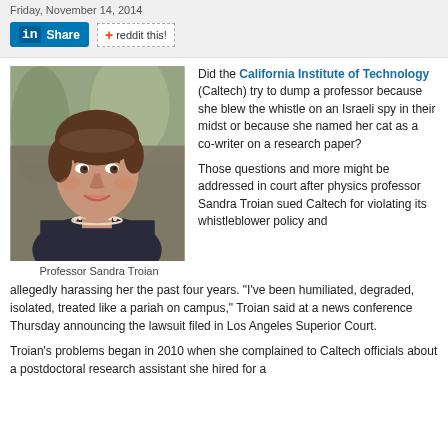Friday, November 14, 2014
[Figure (other): LinkedIn Share button and Reddit this! button social sharing widgets]
[Figure (photo): Headshot photo of Professor Sandra Troian, a woman with short brown hair, smiling, wearing a dark jacket and pearl necklace, with blurred outdoor background]
Professor Sandra Troian
Did the California Institute of Technology (Caltech) try to dump a professor because she blew the whistle on an Israeli spy in their midst or because she named her cat as a co-writer on a research paper?
Those questions and more might be addressed in court after physics professor Sandra Troian sued Caltech for violating its whistleblower policy and allegedly harassing her the past four years. "I've been humiliated, degraded, isolated, treated like a pariah on campus," Troian said at a news conference Thursday announcing the lawsuit filed in Los Angeles Superior Court.
Troian's problems began in 2010 when she complained to Caltech officials about a postdoctoral research assistant she hired for a